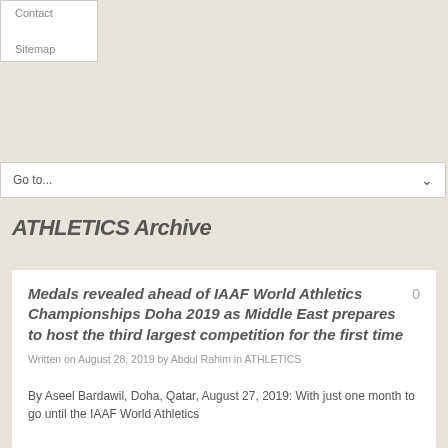Contact
Sitemap
Go to...
ATHLETICS Archive
Medals revealed ahead of IAAF World Athletics Championships Doha 2019 as Middle East prepares to host the third largest competition for the first time
Written on August 28, 2019 by Abdul Rahim in ATHLETICS
By Aseel Bardawil, Doha, Qatar, August 27, 2019: With just one month to go until the IAAF World Athletics